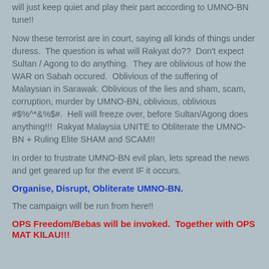will just keep quiet and play their part according to UMNO-BN tune!!
Now these terrorist are in court, saying all kinds of things under duress.  The question is what will Rakyat do??  Don't expect Sultan / Agong to do anything.  They are oblivious of how the WAR on Sabah occured.  Oblivious of the suffering of Malaysian in Sarawak. Oblivious of the lies and sham, scam, corruption, murder by UMNO-BN, oblivious, oblivious #$%^*&%$#.  Hell will freeze over, before Sultan/Agong does anything!!!  Rakyat Malaysia UNITE to Obliterate the UMNO-BN + Ruling Elite SHAM and SCAM!!
In order to frustrate UMNO-BN evil plan, lets spread the news and get geared up for the event IF it occurs.
Organise, Disrupt, Obliterate UMNO-BN.
The campaign will be run from here!!
OPS Freedom/Bebas will be invoked.  Together with OPS MAT KILAU!!!